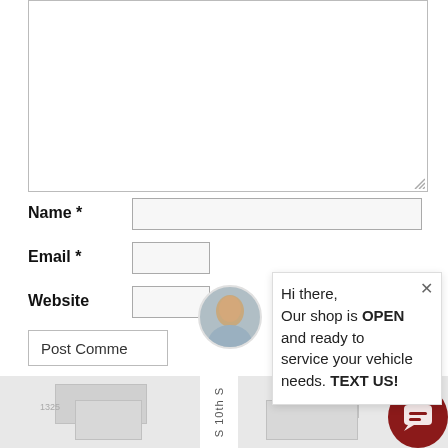[Figure (screenshot): Textarea form field (empty, with resize handle)]
Name *
[Figure (screenshot): Name input field (empty text box)]
Email *
[Figure (screenshot): Email input field (partially visible)]
Website
[Figure (screenshot): Website input field (partially visible)]
[Figure (screenshot): Post Comment button]
Hi there,
Our shop is OPEN and ready to service your vehicle needs. TEXT US!
[Figure (map): Street map showing building footprints with labels 1325 and 1326, and road labeled S 10th S]
[Figure (screenshot): Chat bubble FAB icon (dark red circle with chat icon)]